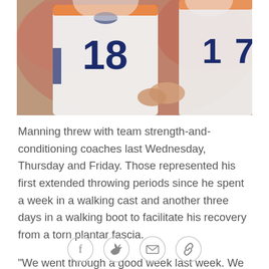[Figure (photo): Two Denver Broncos players in white jerseys numbered 18 and 17 standing together on the field, with a crowd visible in the background.]
Manning threw with team strength-and-conditioning coaches last Wednesday, Thursday and Friday. Those represented his first extended throwing periods since he spent a week in a walking cast and another three days in a walking boot to facilitate his recovery from a torn plantar fascia.
"We went through a good week last week. We gave him the weekend off, so we'll see where we're at," Kubiak said. "We'll have a plan in place by the time we get to We...